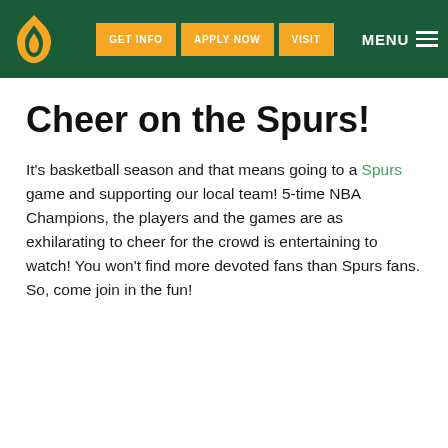GET INFO | APPLY NOW | VISIT | MENU
Cheer on the Spurs!
It's basketball season and that means going to a Spurs game and supporting our local team! 5-time NBA Champions, the players and the games are as exhilarating to cheer for the crowd is entertaining to watch! You won't find more devoted fans than Spurs fans. So, come join in the fun!